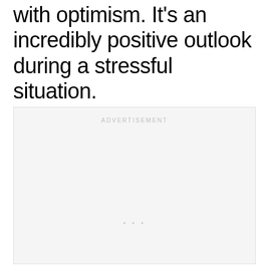with optimism. It's an incredibly positive outlook during a stressful situation.
[Figure (other): Advertisement placeholder box with 'ADVERTISEMENT' label centered at top and three small dots centered near the bottom]